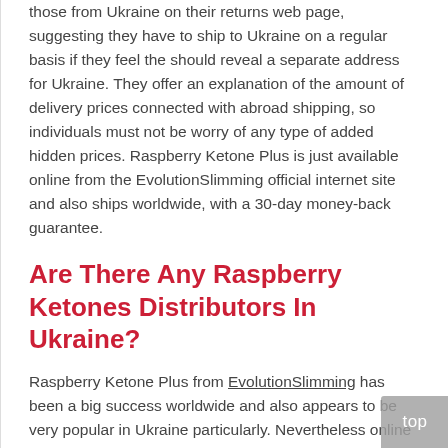those from Ukraine on their returns web page, suggesting they have to ship to Ukraine on a regular basis if they feel the should reveal a separate address for Ukraine. They offer an explanation of the amount of delivery prices connected with abroad shipping, so individuals must not be worry of any type of added hidden prices. Raspberry Ketone Plus is just available online from the EvolutionSlimming official internet site and also ships worldwide, with a 30-day money-back guarantee.
Are There Any Raspberry Ketones Distributors In Ukraine?
Raspberry Ketone Plus from EvolutionSlimming has been a big success worldwide and also appears to be very popular in Ukraine particularly. Nevertheless online searches do not raise any sort of outcomes about representatives based in Ukraine or specialised